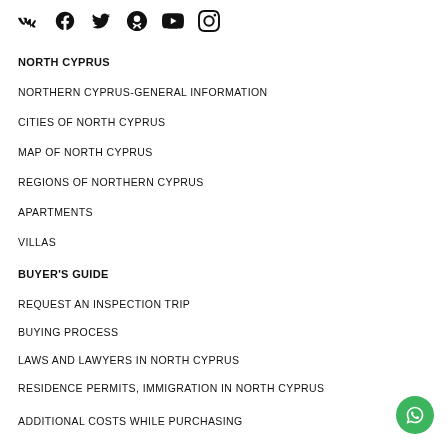Social media icons: VK, Facebook, Twitter, Odnoklassniki, YouTube, Instagram
NORTH CYPRUS
NORTHERN CYPRUS-GENERAL INFORMATION
CITIES OF NORTH CYPRUS
MAP OF NORTH CYPRUS
REGIONS OF NORTHERN CYPRUS
APARTMENTS
VILLAS
BUYER'S GUIDE
REQUEST AN INSPECTION TRIP
BUYING PROCESS
LAWS AND LAWYERS IN NORTH CYPRUS
RESIDENCE PERMITS, IMMIGRATION IN NORTH CYPRUS
ADDITIONAL COSTS WHILE PURCHASING